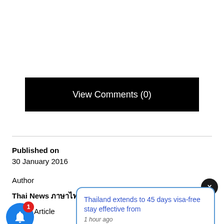View Comments (0)
Published on
30 January 2016
Author
Thai News ภาษาไทย
Article
Thailand extends to 45 days visa-free stay effective from — 1 hour ago